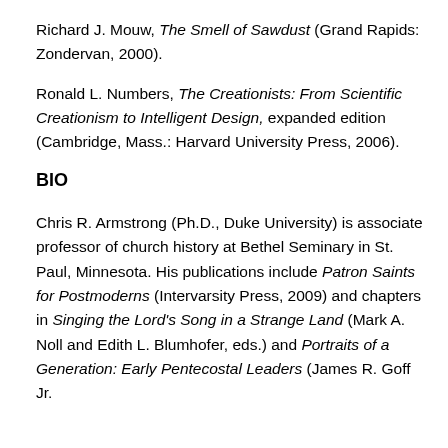Richard J. Mouw, The Smell of Sawdust (Grand Rapids: Zondervan, 2000).
Ronald L. Numbers, The Creationists: From Scientific Creationism to Intelligent Design, expanded edition (Cambridge, Mass.: Harvard University Press, 2006).
BIO
Chris R. Armstrong (Ph.D., Duke University) is associate professor of church history at Bethel Seminary in St. Paul, Minnesota. His publications include Patron Saints for Postmoderns (Intervarsity Press, 2009) and chapters in Singing the Lord’s Song in a Strange Land (Mark A. Noll and Edith L. Blumhofer, eds.) and Portraits of a Generation: Early Pentecostal Leaders (James R. Goff Jr.